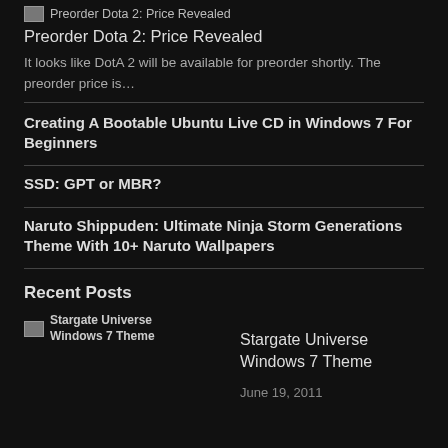[Figure (illustration): Broken image thumbnail for Preorder Dota 2: Price Revealed with text label]
Preorder Dota 2: Price Revealed
It looks like DotA 2 will be available for preorder shortly. The preorder price is…
Creating A Bootable Ubuntu Live CD in Windows 7 For Beginners
SSD: GPT or MBR?
Naruto Shippuden: Ultimate Ninja Storm Generations Theme With 10+ Naruto Wallpapers
Recent Posts
[Figure (illustration): Broken image thumbnail for Stargate Universe Windows 7 Theme]
Stargate Universe Windows 7 Theme
June 19, 2011